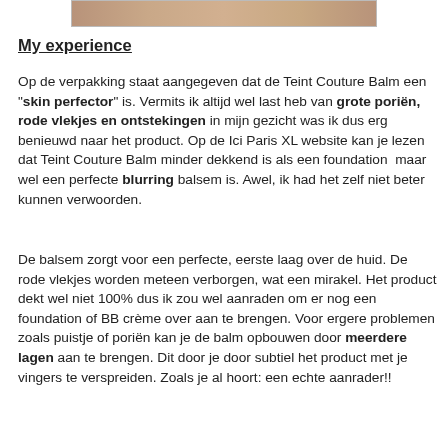[Figure (photo): Partial photo of a person's face or skin, cropped at the top of the page]
My experience
Op de verpakking staat aangegeven dat de Teint Couture Balm een "skin perfector" is. Vermits ik altijd wel last heb van grote poriën, rode vlekjes en ontstekingen in mijn gezicht was ik dus erg benieuwd naar het product. Op de Ici Paris XL website kan je lezen dat Teint Couture Balm minder dekkend is als een foundation  maar wel een perfecte blurring balsem is. Awel, ik had het zelf niet beter kunnen verwoorden.
De balsem zorgt voor een perfecte, eerste laag over de huid. De rode vlekjes worden meteen verborgen, wat een mirakel. Het product dekt wel niet 100% dus ik zou wel aanraden om er nog een foundation of BB crème over aan te brengen. Voor ergere problemen zoals puistje of poriën kan je de balm opbouwen door meerdere lagen aan te brengen. Dit door je door subtiel het product met je vingers te verspreiden. Zoals je al hoort: een echte aanrader!!